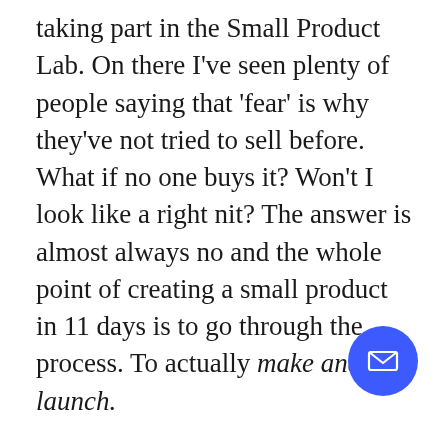taking part in the Small Product Lab. On there I've seen plenty of people saying that 'fear' is why they've not tried to sell before. What if no one buys it? Won't I look like a right nit? The answer is almost always no and the whole point of creating a small product in 11 days is to go through the process. To actually make and launch.
That's why I've decided to package and sell my writing style guide templates. I use them every day and I know that they are a handy tool for copywriters, agencies and companies. I'm even putting a new template together for authors, though I'm not sure if that should be separate just yet. I think that there is a niche market for this kind of thing, but that doesn't matter right now. I just want to say 'look, I made this. And you can